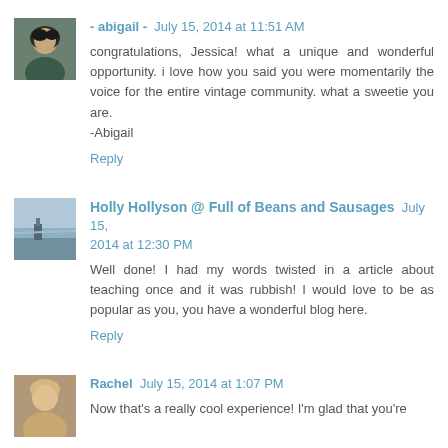[Figure (photo): Avatar of Abigail - woman with dark hair]
- abigail -  July 15, 2014 at 11:51 AM
congratulations, Jessica! what a unique and wonderful opportunity. i love how you said you were momentarily the voice for the entire vintage community. what a sweetie you are.
-Abigail
Reply
[Figure (photo): Avatar of Holly Hollyson - seascape photo]
Holly Hollyson @ Full of Beans and Sausages  July 15, 2014 at 12:30 PM
Well done! I had my words twisted in a article about teaching once and it was rubbish! I would love to be as popular as you, you have a wonderful blog here.
Reply
[Figure (photo): Avatar of Rachel - woman with light hair]
Rachel  July 15, 2014 at 1:07 PM
Now that's a really cool experience! I'm glad that you're